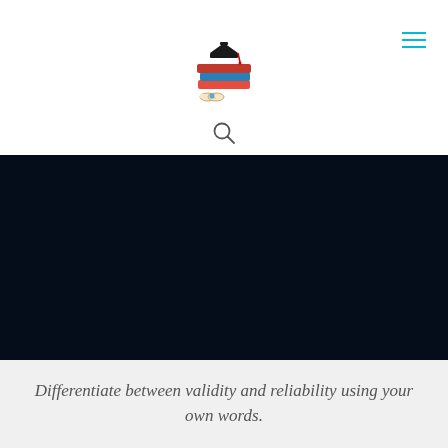[Figure (logo): Nursing Essay Pro logo with graduation cap on stacked books and diploma, with teal text 'NURSING ESSAY PRO' below]
[Figure (other): Hamburger menu icon with three teal horizontal lines]
[Figure (other): Search magnifying glass icon]
[Figure (photo): Large dark navy/black background section, appears to be a hero image area]
Differentiate between validity and reliability using your own words.